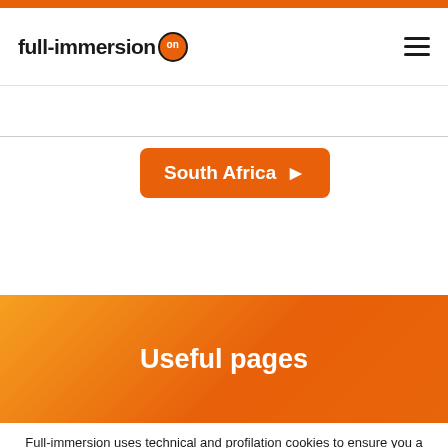full-immersion on
South Africa
Useful pages
Full-immersion uses technical and profilation cookies to ensure you a great experience and to better target our marketing campaigns. If you disagree with our policy please leave the site now.
Accept
details